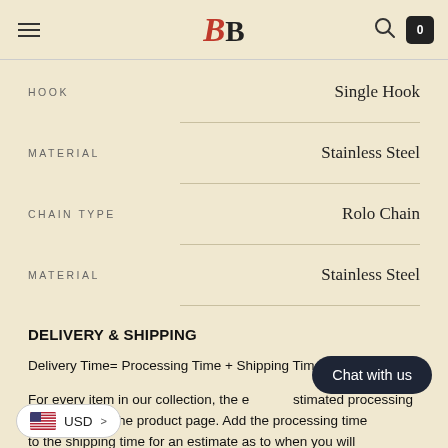BB logo, hamburger menu, search icon, cart
| Attribute | Value |
| --- | --- |
| HOOK | Single Hook |
| MATERIAL | Stainless Steel |
| CHAIN TYPE | Rolo Chain |
| MATERIAL | Stainless Steel |
DELIVERY & SHIPPING
Delivery Time= Processing Time + Shipping Time
For every item in our collection, the estimated processing time is listed on the product page. Add the processing time to the shipping time for an estimate as to when you will